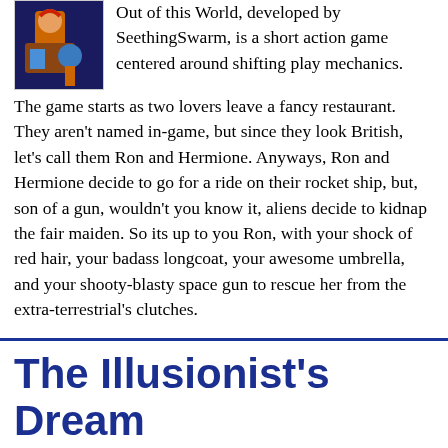[Figure (illustration): Small game thumbnail showing a character with red hair in a dark scene]
Out of this World, developed by SeethingSwarm, is a short action game centered around shifting play mechanics. The game starts as two lovers leave a fancy restaurant. They aren't named in-game, but since they look British, let's call them Ron and Hermione. Anyways, Ron and Hermione decide to go for a ride on their rocket ship, but, son of a gun, wouldn't you know it, aliens decide to kidnap the fair maiden. So its up to you Ron, with your shock of red hair, your badass longcoat, your awesome umbrella, and your shooty-blasty space gun to rescue her from the extra-terrestrial's clutches.
The Illusionist's Dream
Aug 2010
Rating: ★★★★☆ 3.73
Categories: browser, flash, free, game, linux, mac, platform, puzzle, rating-g, seethingswarm, windows
The Illusionist's Dream is a puzzle platformer that puts you in the shoes and